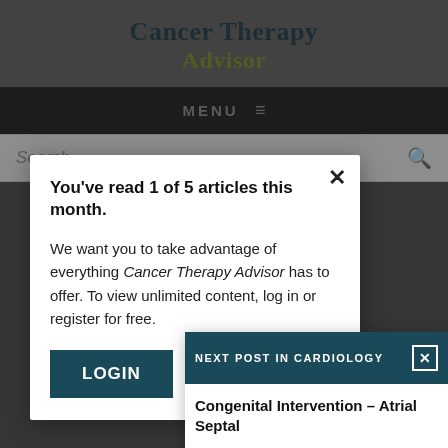Cancer Therapy Advisor
MENU
Search...
You've read 1 of 5 articles this month.
We want you to take advantage of everything Cancer Therapy Advisor has to offer. To view unlimited content, log in or register for free.
LOGIN
NEXT POST IN CARDIOLOGY
Congenital Intervention – Atrial Septal